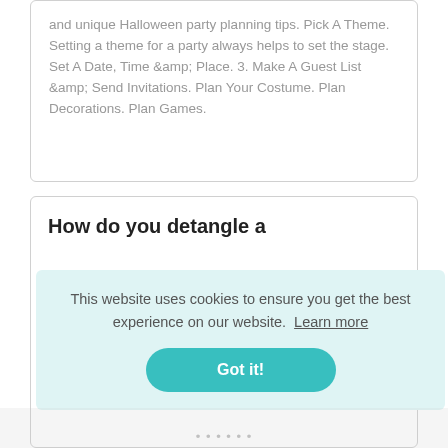and unique Halloween party planning tips. Pick A Theme. Setting a theme for a party always helps to set the stage. Set A Date, Time &amp; Place. 3. Make A Guest List &amp; Send Invitations. Plan Your Costume. Plan Decorations. Plan Games.
How do you detangle a
This website uses cookies to ensure you get the best experience on our website.  Learn more
Got it!